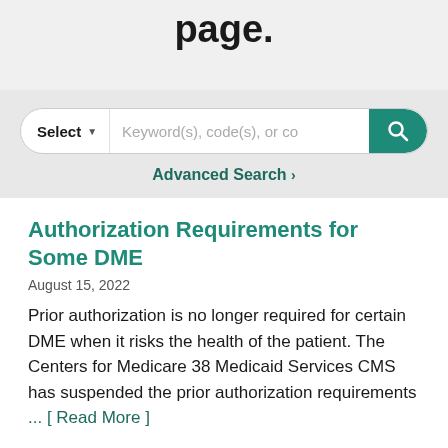page.
[Figure (screenshot): Search bar with Select dropdown and keyword input field, teal search button with magnifying glass icon]
Advanced Search >
Authorization Requirements for Some DME
August 15, 2022
Prior authorization is no longer required for certain DME when it risks the health of the patient. The Centers for Medicare 38 Medicaid Services CMS has suspended the prior authorization requirements ... [ Read More ]